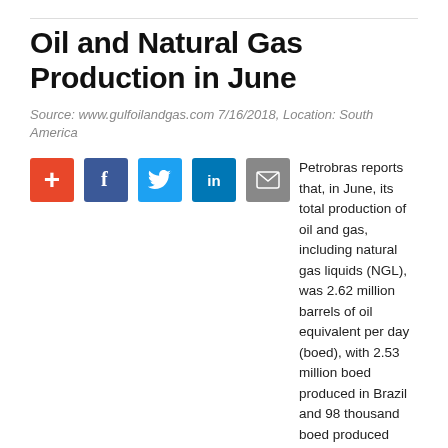Oil and Natural Gas Production in June
Source: www.gulfoilandgas.com 7/16/2018, Location: South America
[Figure (other): Social share buttons: add (+), Facebook (f), Twitter (bird), LinkedIn (in), Email (envelope)]
Petrobras reports that, in June, its total production of oil and gas, including natural gas liquids (NGL), was 2.62 million barrels of oil equivalent per day (boed), with 2.53 million boed produced in Brazil and 98 thousand boed produced abroad. Total production operated by the company (Petrobras and partners' share) was 3.30 million boed, with 3.17 million boed in Brazil.
The average oil production in the country was 2.03 million barrels per day (bpd), 1.5% lower than the volume produced in May, mainly due to the maintenance stoppage of FPSO Cidade de Paraty located in Lula field at Santos Basin pre-salt and the sale